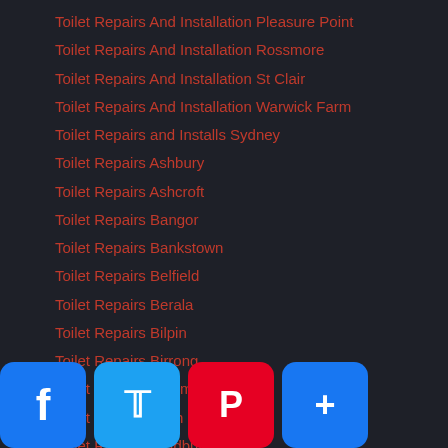Toilet Repairs And Installation Pleasure Point
Toilet Repairs And Installation Rossmore
Toilet Repairs And Installation St Clair
Toilet Repairs And Installation Warwick Farm
Toilet Repairs and Installs Sydney
Toilet Repairs Ashbury
Toilet Repairs Ashcroft
Toilet Repairs Bangor
Toilet Repairs Bankstown
Toilet Repairs Belfield
Toilet Repairs Berala
Toilet Repairs Bilpin
Toilet Repairs Birrong
Toilet Repairs Blairmount
Toilet Repairs Bligh Park
Toilet Repairs Bradbury
Toilet Repairs Bronte
Toilet Repairs Camden